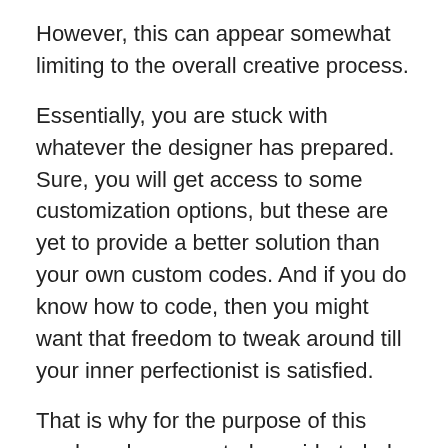However, this can appear somewhat limiting to the overall creative process.
Essentially, you are stuck with whatever the designer has prepared. Sure, you will get access to some customization options, but these are yet to provide a better solution than your own custom codes. And if you do know how to code, then you might want that freedom to tweak around till your inner perfectionist is satisfied.
That is why for the purpose of this read, we have created a guide to help you easily add custom CSS to your WordPress website. But first:
What is CSS?
Most of you might have already heard about CSS in